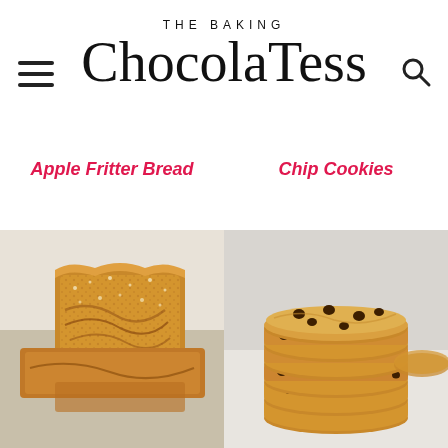THE BAKING ChocolaTess
Apple Fritter Bread
Chip Cookies
[Figure (photo): Close-up photo of apple fritter bread pieces, showing golden-brown pastry with cinnamon sugar coating on a light surface]
[Figure (photo): Stack of chocolate chip cookies, showing thick golden-brown cookies with visible chocolate chips, stacked 5-6 high on a white surface]